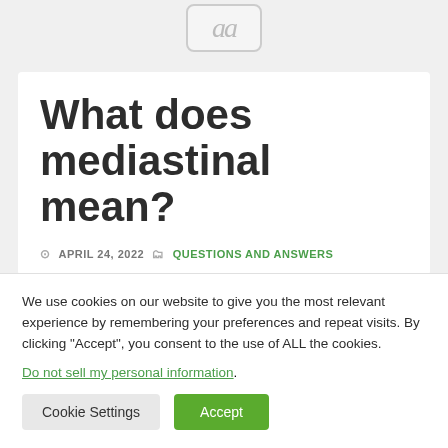[Figure (logo): Logo placeholder box with 'aa' text in gray italic serif font]
What does mediastinal mean?
APRIL 24, 2022   Questions and Answers
We use cookies on our website to give you the most relevant experience by remembering your preferences and repeat visits. By clicking “Accept”, you consent to the use of ALL the cookies.
Do not sell my personal information.
Cookie Settings   Accept